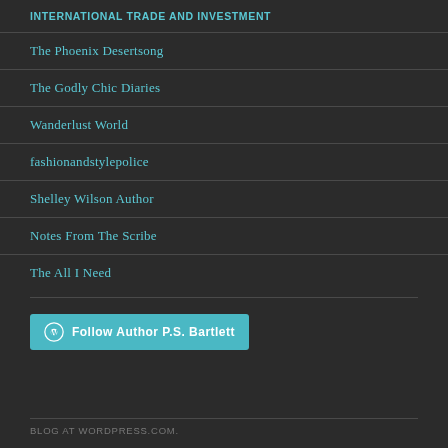INTERNATIONAL TRADE AND INVESTMENT
The Phoenix Desertsong
The Godly Chic Diaries
Wanderlust World
fashionandstylepolice
Shelley Wilson Author
Notes From The Scribe
The All I Need
[Figure (other): Follow Author P.S. Bartlett WordPress follow button with WordPress logo icon in cyan/teal color]
BLOG AT WORDPRESS.COM.